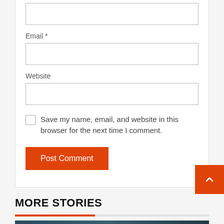Email *
Website
Save my name, email, and website in this browser for the next time I comment.
Post Comment
MORE STORIES
[Figure (photo): Dark background photo with a microphone cable, showing a '2 min read' badge overlay]